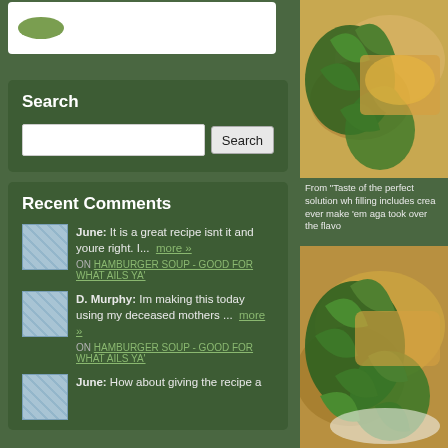[Figure (photo): Logo box with green oval/leaf shape on white background]
Search
Recent Comments
June: It is a great recipe isnt it and youre right. I... more »
ON HAMBURGER SOUP - GOOD FOR WHAT AILS YA'
D. Murphy: Im making this today using my deceased mothers ... more »
ON HAMBURGER SOUP - GOOD FOR WHAT AILS YA'
June: How about giving the recipe a
[Figure (photo): Food photo showing baked dish with fresh herbs/cilantro garnish, top image]
From "Taste of the perfect solution wh filling includes crea ever make 'em aga took over the flavo
[Figure (photo): Food photo showing baked dish with fresh herbs/cilantro garnish, bottom image]